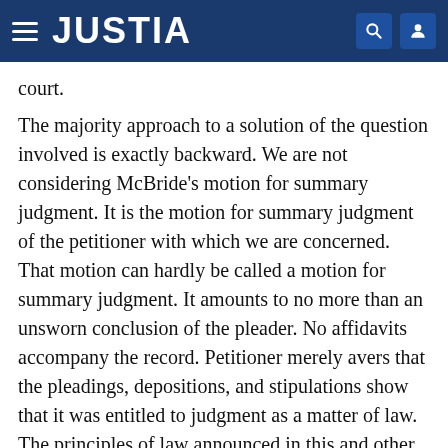JUSTIA
court.
The majority approach to a solution of the question involved is exactly backward. We are not considering McBride's motion for summary judgment. It is the motion for summary judgment of the petitioner with which we are concerned. That motion can hardly be called a motion for summary judgment. It amounts to no more than an unsworn conclusion of the pleader. No affidavits accompany the record. Petitioner merely avers that the pleadings, depositions, and stipulations show that it was entitled to judgment as a matter of law. The principles of law announced in this and other cases have been stressed by this Court and the Court of Civil Appeals in the following cases: Smith v. Bolin, 271 S.W.2d 93; Ward v. Stroud, Tex.Civ.App.1955, 274 S.W.2d 136, wr. ref. n. r. e.; Kenny v. Starnes, Tex.Civ. App.1955, 277 S.W.2d 919; Bohannon v. Allstate Ins. Co.